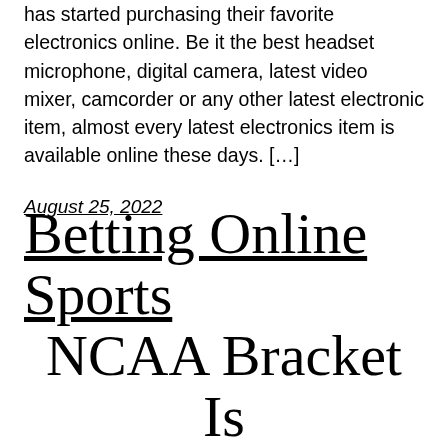has started purchasing their favorite electronics online. Be it the best headset microphone, digital camera, latest video mixer, camcorder or any other latest electronic item, almost every latest electronics item is available online these days. […]
August 25, 2022
Betting Online Sports NCAA Bracket Is